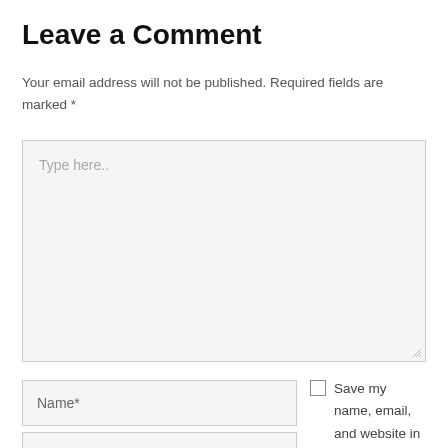Leave a Comment
Your email address will not be published. Required fields are marked *
[Figure (other): Large textarea input field with placeholder text 'Type here..' and a resize handle in the bottom-right corner]
Name*
Save my name, email, and website in this